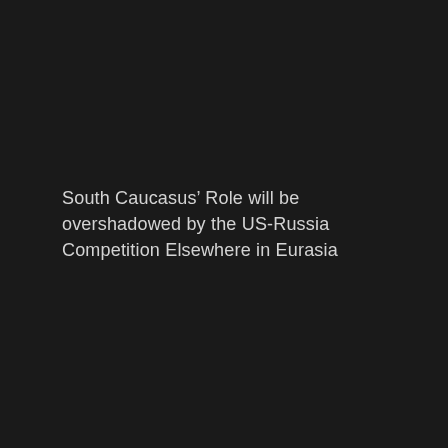South Caucasus' Role will be overshadowed by the US-Russia Competition Elsewhere in Eurasia